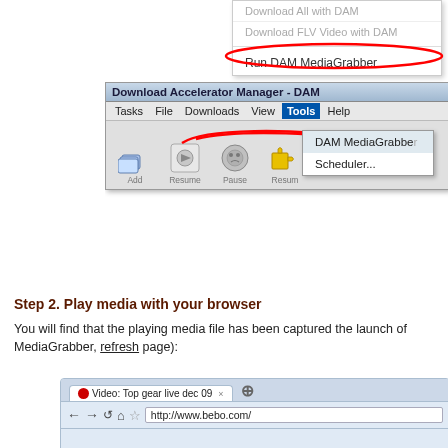[Figure (screenshot): Screenshot showing a right-click context menu with 'Download All with DAM', 'Download FLV Video with DAM', and 'Run DAM MediaGrabber' options. The 'Run DAM MediaGrabber' item is circled in red.]
[Figure (screenshot): Screenshot of Download Accelerator Manager - DAM application window showing title bar, menu bar with Tasks, File, Downloads, View, Tools (active), Help, toolbar icons (Add, Resume, Pause, Resume), and a dropdown from Tools menu showing 'DAM MediaGrabber' (highlighted with red arrow) and 'Scheduler...' options.]
Step 2. Play media with your browser
You will find that the playing media file has been captured the launch of MediaGrabber, refresh page):
[Figure (screenshot): Screenshot of a browser showing a tab labeled 'Video: Top gear live dec 09' with navigation bar showing back, forward, refresh, home, star buttons and URL http://www.bebo.com/]